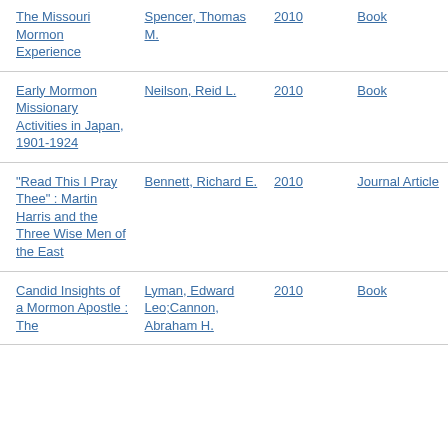The Missouri Mormon Experience | Spencer, Thomas M. | 2010 | Book
Early Mormon Missionary Activities in Japan, 1901-1924 | Neilson, Reid L. | 2010 | Book
"Read This I Pray Thee" : Martin Harris and the Three Wise Men of the East | Bennett, Richard E. | 2010 | Journal Article
Candid Insights of a Mormon Apostle : The | Lyman, Edward Leo;Cannon, Abraham H. | 2010 | Book